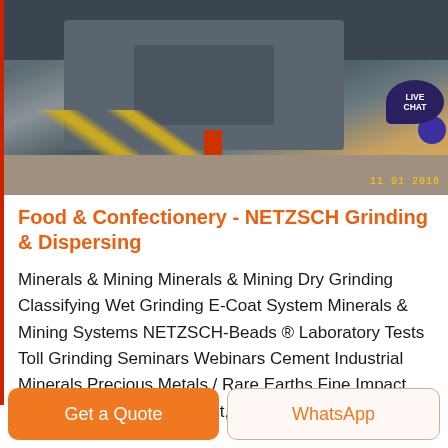[Figure (photo): Industrial grinding machinery photograph showing heavy mill equipment with yellow cables, a red component, and a timestamp visible at bottom right. Live Chat bubble overlay in top right corner.]
Food & Confectionery - NETZSCH Grinding & Dispersing
Minerals & Mining Minerals & Mining Dry Grinding Classifying Wet Grinding E-Coat System Minerals & Mining Systems NETZSCH-Beads ® Laboratory Tests Toll Grinding Seminars Webinars Cement Industrial Minerals Precious Metals / Rare Earths Fine Impact Mill ~Condux 60 – Smallest,
Get a Quote
WhatsApp